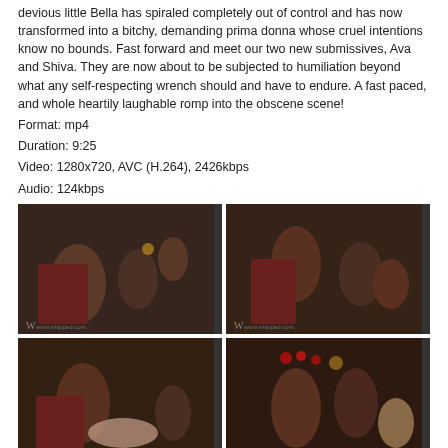devious little Bella has spiraled completely out of control and has now transformed into a bitchy, demanding prima donna whose cruel intentions know no bounds. Fast forward and meet our two new submissives, Ava and Shiva. They are now about to be subjected to humiliation beyond what any self-respecting wrench should and have to endure. A fast paced, and whole heartily laughable romp into the obscene scene!
Format: mp4
Duration: 9:25
Video: 1280x720, AVC (H.264), 2426kbps
Audio: 124kbps
[Figure (photo): Video thumbnail - three figures in dark interior setting with red chair]
[Figure (photo): Video thumbnail - figures in dark interior with red chair and candles]
[Figure (photo): Video thumbnail - figures in dark interior, one figure bent over]
[Figure (photo): Video thumbnail - figures in dark interior with red roses and candles]
[Figure (photo): Bottom strip of multiple video thumbnails]